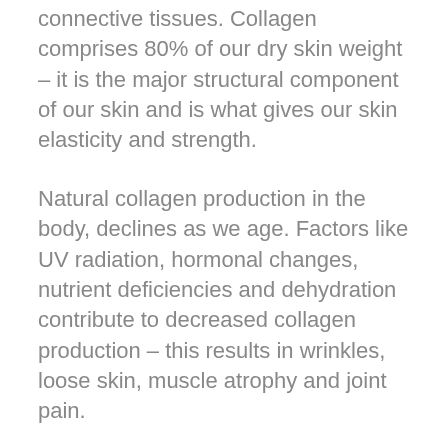connective tissues. Collagen comprises 80% of our dry skin weight – it is the major structural component of our skin and is what gives our skin elasticity and strength.
Natural collagen production in the body, declines as we age. Factors like UV radiation, hormonal changes, nutrient deficiencies and dehydration contribute to decreased collagen production – this results in wrinkles, loose skin, muscle atrophy and joint pain.
How can I stimulate collagen production?